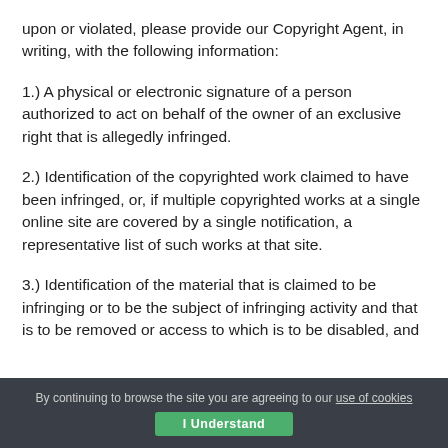upon or violated, please provide our Copyright Agent, in writing, with the following information:
1.) A physical or electronic signature of a person authorized to act on behalf of the owner of an exclusive right that is allegedly infringed.
2.) Identification of the copyrighted work claimed to have been infringed, or, if multiple copyrighted works at a single online site are covered by a single notification, a representative list of such works at that site.
3.) Identification of the material that is claimed to be infringing or to be the subject of infringing activity and that is to be removed or access to which is to be disabled, and
By continuing to browse the site you are agreeing to our use of cookies  I Understand